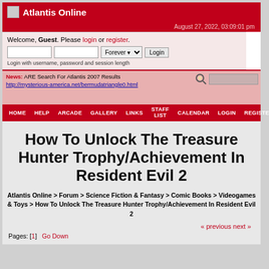Atlantis Online
August 27, 2022, 03:09:01 pm
Welcome, Guest. Please login or register. Login with username, password and session length
News: ARE Search For Atlantis 2007 Results http://mysterious-america.net/bermudatriangle0.html
HOME  HELP  ARCADE  GALLERY  LINKS  STAFF LIST  CALENDAR  LOGIN  REGISTER
How To Unlock The Treasure Hunter Trophy/Achievement In Resident Evil 2
Atlantis Online > Forum > Science Fiction & Fantasy > Comic Books > Videogames & Toys > How To Unlock The Treasure Hunter Trophy/Achievement In Resident Evil 2
« previous next »
Pages: [1]  Go Down